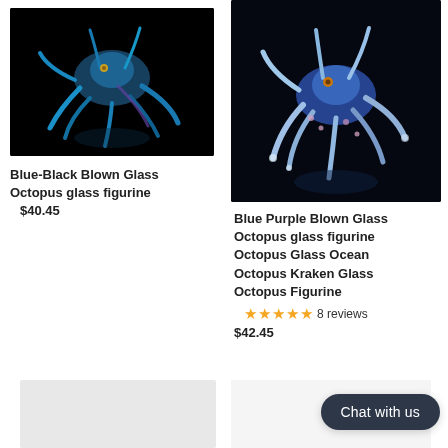[Figure (photo): Blue-black blown glass octopus figurine on black background]
Blue-Black Blown Glass Octopus glass figurine
$40.45
[Figure (photo): Blue purple blown glass octopus figurine on black background]
Blue Purple Blown Glass Octopus glass figurine Octopus Glass Ocean Octopus Kraken Glass Octopus Figurine
8 reviews
$42.45
[Figure (photo): Partial product image at bottom left, gray placeholder]
[Figure (photo): Partial product image at bottom right, light gray placeholder]
Chat with us